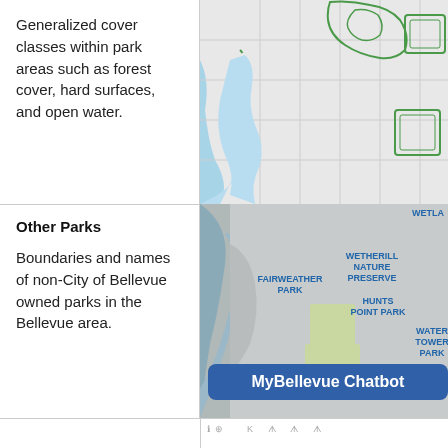Generalized cover classes within park areas such as forest cover, hard surfaces, and open water.
[Figure (map): Map showing Bellevue area with green outlines of park boundaries overlaid on a street grid, with a blue water body (lake/bay) on the left side.]
Other Parks
Boundaries and names of non-City of Bellevue owned parks in the Bellevue area.
[Figure (map): Map showing Bellevue area parks including Fairweather Park, Wetherill Nature Preserve, Hunts Point Park, Water Tower Park labeled in blue text. Light green shaded park areas visible. A 'MyBellevue Chatbot' button overlay at the bottom. Partially cut off label 'WETLA' at top right.]